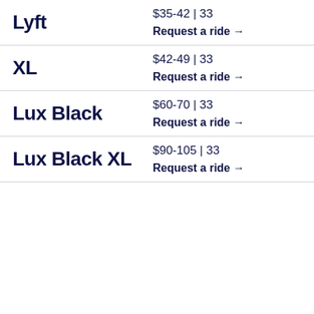Lyft | $35-42 | 33 | Request a ride →
XL | $42-49 | 33 | Request a ride →
Lux Black | $60-70 | 33 | Request a ride →
Lux Black XL | $90-105 | 33 | Request a ride →